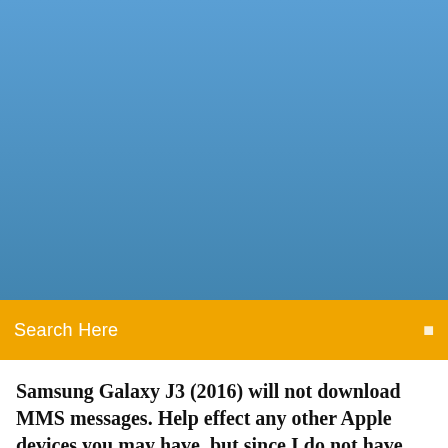[Figure (other): Blue banner/header image area at the top of a website]
Search Here
Samsung Galaxy J3 (2016) will not download MMS messages. Help effect any other Apple devices you may have, but since I do not have any, it did not matter.
They attempt but the small mms/sms prompt next to photo continues to spin says "Failed to download attachment from